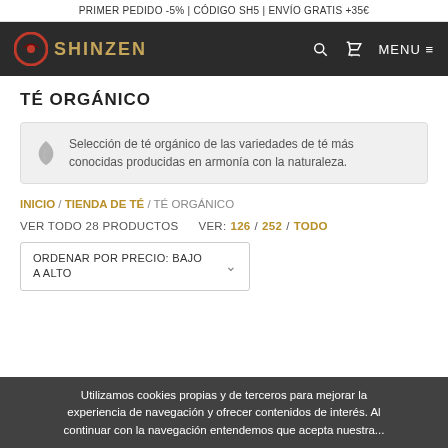PRIMER PEDIDO -5% | CÓDIGO SH5 | ENVÍO GRATIS +35€
[Figure (logo): Shinzen logo: red circle with dark swoosh and gold text SHINZEN on dark background header]
TÉ ORGÁNICO
Selección de té orgánico de las variedades de té más conocidas producidas en armonía con la naturaleza.
INICIO / TIENDA DE TÉ / TÉ ORGÁNICO
VER TODO 28 PRODUCTOS    VER: 126 / 252 / TODO
ORDENAR POR PRECIO: BAJO A ALTO
Utilizamos cookies propias y de terceros para mejorar la experiencia de navegación y ofrecer contenidos de interés. Al continuar con la navegación entendemos que acepta nuestra...